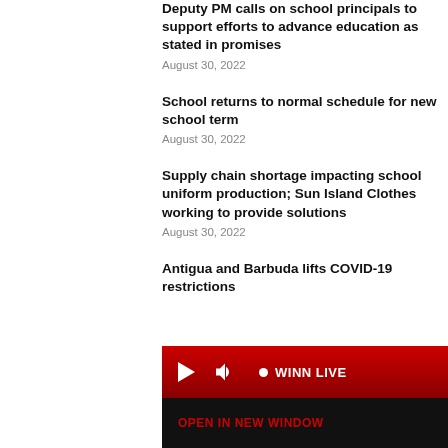Deputy PM calls on school principals to support efforts to advance education as stated in promises
August 30, 2022
School returns to normal schedule for new school term
August 30, 2022
Supply chain shortage impacting school uniform production; Sun Island Clothes working to provide solutions
August 30, 2022
Antigua and Barbuda lifts COVID-19 restrictions
[Figure (other): Audio player bar with play button, volume icon, and WINN LIVE label on red gradient background]
OPEN IN NEW WINDOW